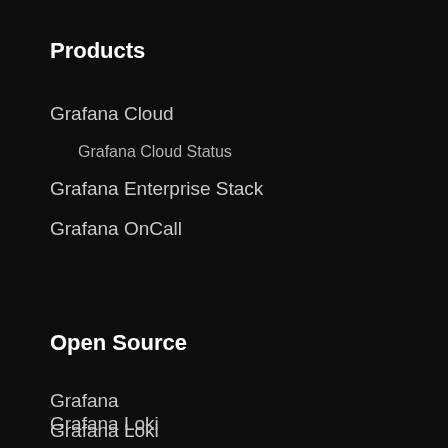Products
Grafana Cloud
Grafana Cloud Status
Grafana Enterprise Stack
Grafana OnCall
Open Source
Grafana
Grafana Loki
Grafana Mimir